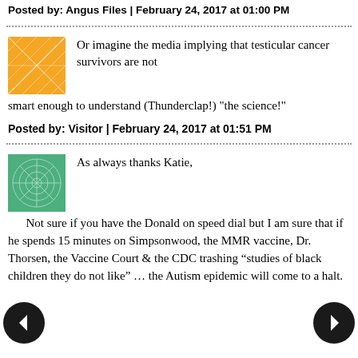Posted by: Angus Files | February 24, 2017 at 01:00 PM
Or imagine the media implying that testicular cancer survivors are not smart enough to understand (Thunderclap!) "the science!"
Posted by: Visitor | February 24, 2017 at 01:51 PM
As always thanks Katie,

Not sure if you have the Donald on speed dial but I am sure that if he spends 15 minutes on Simpsonwood, the MMR vaccine, Dr. Thorsen, the Vaccine Court & the CDC trashing “studies of black children they do not like” ... the Autism epidemic will come to a halt.